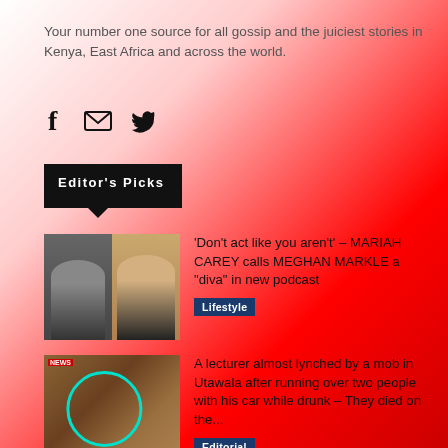Your number one source for all gossip and the juiciest stories in Kenya, East Africa and across the world.
[Figure (infographic): Social media share icons: Facebook (f), email (envelope), Twitter (bird)]
Editor's Picks
[Figure (photo): Two women side by side - Meghan Markle on left in black, Mariah Carey on right with blonde hair]
'Don't act like you aren't' – MARIAH CAREY calls MEGHAN MARKLE a "diva" in new podcast
Lifestyle
[Figure (photo): A man sitting on ground encircled by a teal circle, news image]
A lecturer almost lynched by a mob in Utawala after running over two people with his car while drunk – They died on the...
Editorial